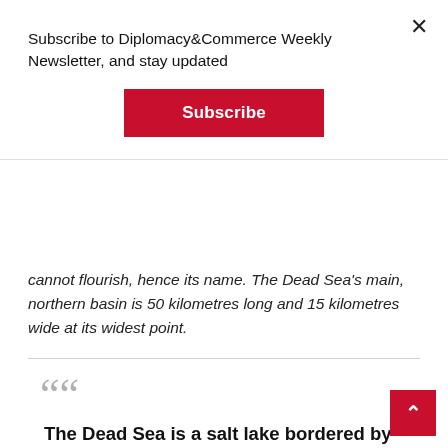Subscribe to Diplomacy&Commerce Weekly Newsletter, and stay updated
Subscribe
cannot flourish, hence its name. The Dead Sea's main, northern basin is 50 kilometres long and 15 kilometres wide at its widest point.
The Dead Sea is a salt lake bordered by Jordan to the east and Israel and the West Bank to the west. It lies in the Jordan Rift Valley, and its main tributary is the Jordan River.